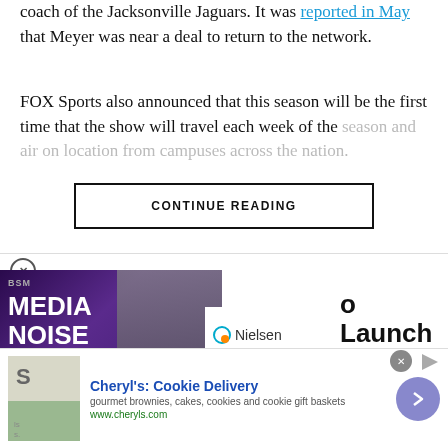coach of the Jacksonville Jaguars. It was reported in May that Meyer was near a deal to return to the network.
FOX Sports also announced that this season will be the first time that the show will travel each week of the season and air on location from campuses across the nation.
CONTINUE READING
[Figure (screenshot): Media Noise podcast thumbnail with BSM logo and host photo overlay, partially covered by Nielsen logo overlay and ESPN headline text reading 'o Launch ESPN']
[Figure (photo): Advertisement for Cheryl's Cookie Delivery showing gourmet brownies, cakes, cookies and cookie gift baskets with www.cheryls.com]